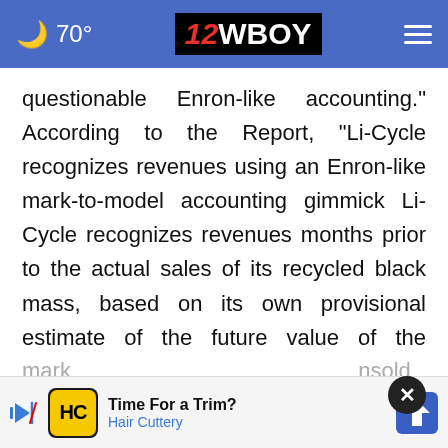70° | 12WBOY
questionable Enron-like accounting." According to the Report, “Li-Cycle recognizes revenues using an Enron-like mark-to-model accounting gimmick Li-Cycle recognizes revenues months prior to the actual sales of its recycled black mass, based on its own provisional estimate of the future value of the product. This accounting treatment is plainly vulnerable to abuse, giving Li-Cycle discretion over its reported revenues. We suspect that under this framework Li-Cycle mark... unsold
[Figure (screenshot): Ad banner: Hair Cuttery - Time For a Trim?]